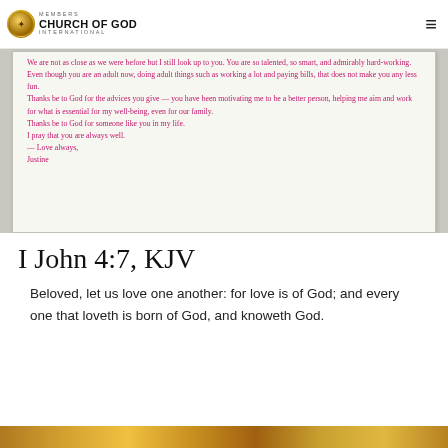MEMBERS CHURCH OF GOD INTERNATIONAL
[Figure (photo): Handwritten letter in pink/magenta ink on white paper. Text reads: We are not as close as we were before but I still look up to you. You are so talented, so smart, and admirably hard-working. Even though you are an adult now, doing adult things such as working a lot and paying bills, that does not make you any less fun. Thanks be to God for the advices you give — you have been motivating me to be a better person, helping me aim and work for what is essential for my well-being, even for our family. Thanks be to God for someone like you in my life. I pray that you are always well. — Love always, Justine]
I John 4:7, KJV
Beloved, let us love one another: for love is of God; and every one that loveth is born of God, and knoweth God.
[Figure (photo): Partial view of another image at the bottom of the page, appears to show warm golden/brown tones, likely a person or scene photograph.]